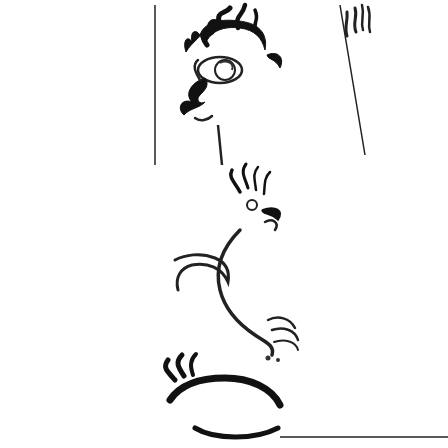[Figure (illustration): Three black-and-white cartoon/caricature ink brush sketches arranged vertically. Top panel: a cartoon character face in profile view peeking around a vertical line/border, with exaggerated features including large nose, cartoon eyes, and wild hair drawn in bold brush strokes. Middle panel: a loose gestural ink sketch of a cartoon bird or duck-like figure with flowing curved lines, beak, and feathery details. Bottom panel: a partial ink sketch of a cartoon character's lower face/head area with bold curved strokes suggesting hair or hat and a wide curved mouth.]